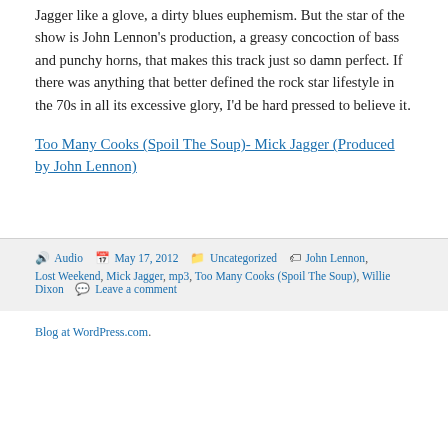Jagger like a glove, a dirty blues euphemism. But the star of the show is John Lennon's production, a greasy concoction of bass and punchy horns, that makes this track just so damn perfect. If there was anything that better defined the rock star lifestyle in the 70s in all its excessive glory, I'd be hard pressed to believe it.
Too Many Cooks (Spoil The Soup)- Mick Jagger (Produced by John Lennon)
Audio  May 17, 2012  Uncategorized  John Lennon, Lost Weekend, Mick Jagger, mp3, Too Many Cooks (Spoil The Soup), Willie Dixon  Leave a comment
Blog at WordPress.com.